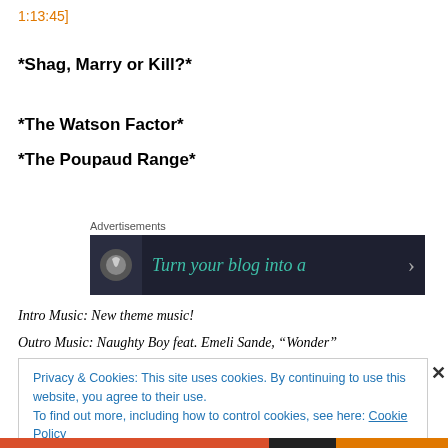1:13:45]
*Shag, Marry or Kill?*
*The Watson Factor*
*The Poupaud Range*
[Figure (screenshot): Advertisement banner: dark background with WordPress logo icon and teal italic text 'Turn your blog into a' with an arrow]
Intro Music: New theme music!
Outro Music: Naughty Boy feat. Emeli Sande, “Wonder”
Privacy & Cookies: This site uses cookies. By continuing to use this website, you agree to their use.
To find out more, including how to control cookies, see here: Cookie Policy